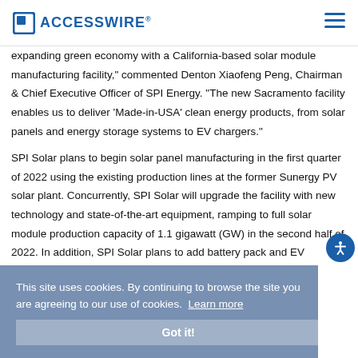ACCESSWIRE
expanding green economy with a California-based solar module manufacturing facility," commented Denton Xiaofeng Peng, Chairman & Chief Executive Officer of SPI Energy. "The new Sacramento facility enables us to deliver 'Made-in-USA' clean energy products, from solar panels and energy storage systems to EV chargers."
SPI Solar plans to begin solar panel manufacturing in the first quarter of 2022 using the existing production lines at the former Sunergy PV solar plant. Concurrently, SPI Solar will upgrade the facility with new technology and state-of-the-art equipment, ramping to full solar module production capacity of 1.1 gigawatt (GW) in the second half of 2022. In addition, SPI Solar plans to add battery pack and EV